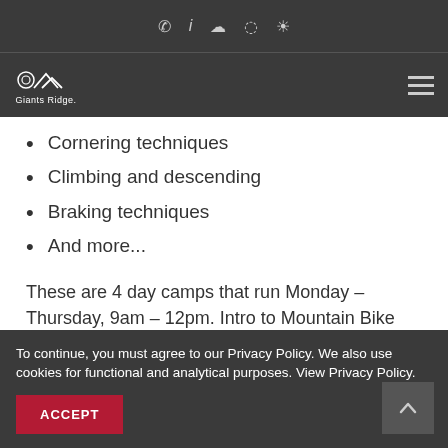Giants Ridge website header with navigation icons and logo
Cornering techniques
Climbing and descending
Braking techniques
And more...
These are 4 day camps that run Monday – Thursday, 9am – 12pm. Intro to Mountain Bike camp dates are as follows:
June 13 – 16
To continue, you must agree to our Privacy Policy. We also use cookies for functional and analytical purposes. View Privacy Policy.